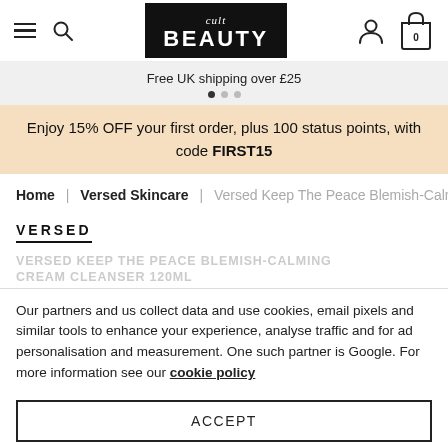Cult Beauty — navigation header with hamburger menu, search, logo, user icon, cart (0)
Free UK shipping over £25
Enjoy 15% OFF your first order, plus 100 status points, with code FIRST15
Home | Versed Skincare | Versed Keep The Peace Blemish-Calmi…
VERSED
VERSED KEEP THE PEACE BLEMISH-CALMING CREAM CLEANSER 120ML
Our partners and us collect data and use cookies, email pixels and similar tools to enhance your experience, analyse traffic and for ad personalisation and measurement. One such partner is Google. For more information see our cookie policy
ACCEPT